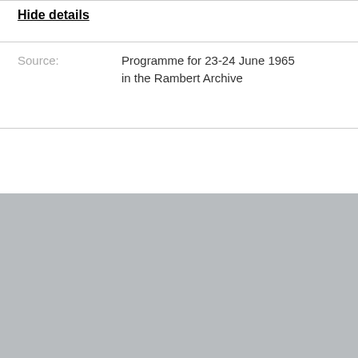Hide details
Source: Programme for 23-24 June 1965 in the Rambert Archive
Contact us
info@rambert.org.uk
+44 (0) 20 8630 0600
Rambert
99 Upper Ground
London SE1 9PP